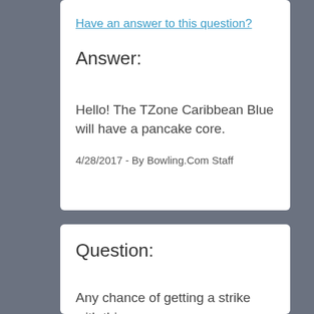Have an answer to this question?
Answer:
Hello! The TZone Caribbean Blue will have a pancake core.
4/28/2017 - By Bowling.Com Staff
Question:
Any chance of getting a strike with this